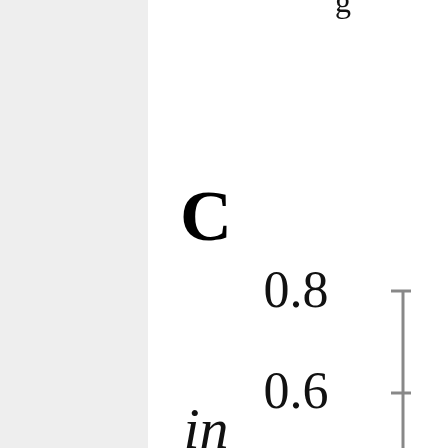[Figure (continuous-plot): Partial view of a scientific chart/figure. Shows a bold capital letter C on the left side, numeric axis tick labels 0.8 and 0.6 in the center, a vertical grey axis line with tick marks on the right, and partial text 'in' at the bottom left. A partial label appears at the very top. This appears to be a fragment of a larger graph showing y-axis values between 0.6 and 0.8+.]